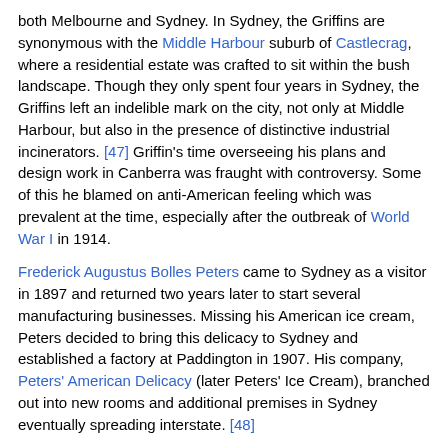both Melbourne and Sydney. In Sydney, the Griffins are synonymous with the Middle Harbour suburb of Castlecrag, where a residential estate was crafted to sit within the bush landscape. Though they only spent four years in Sydney, the Griffins left an indelible mark on the city, not only at Middle Harbour, but also in the presence of distinctive industrial incinerators. [47] Griffin's time overseeing his plans and design work in Canberra was fraught with controversy. Some of this he blamed on anti-American feeling which was prevalent at the time, especially after the outbreak of World War I in 1914.
Frederick Augustus Bolles Peters came to Sydney as a visitor in 1897 and returned two years later to start several manufacturing businesses. Missing his American ice cream, Peters decided to bring this delicacy to Sydney and established a factory at Paddington in 1907. His company, Peters' American Delicacy (later Peters' Ice Cream), branched out into new rooms and additional premises in Sydney eventually spreading interstate. [48]
Associations, wartime and politics
Clubs, associations and societies follow the business trail.